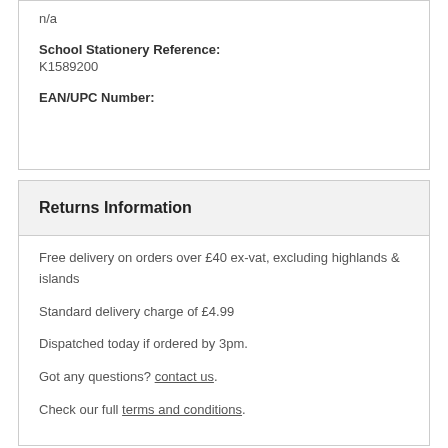n/a
School Stationery Reference: K1589200
EAN/UPC Number:
Returns Information
Free delivery on orders over £40 ex-vat, excluding highlands & islands
Standard delivery charge of £4.99
Dispatched today if ordered by 3pm.
Got any questions? contact us.
Check our full terms and conditions.